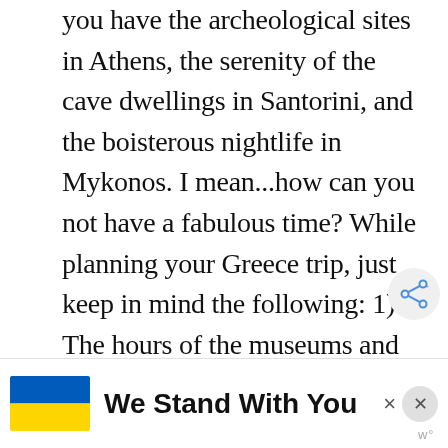you have the archeological sites in Athens, the serenity of the cave dwellings in Santorini, and the boisterous nightlife in Mykonos. I mean...how can you not have a fabulous time? While planning your Greece trip, just keep in mind the following: 1) The hours of the museums and ruins in Athens are somewhat limited, so make sure you check in advance and plan your itinerary accordingly. 2) Look into the ferry times before you solidify everything. You don't have to purchase the ferry tickets online, but you need to have a very solid idea of which ferries and...
[Figure (other): We Stand With You banner with Ukrainian flag (blue and yellow) and two close/dismiss buttons]